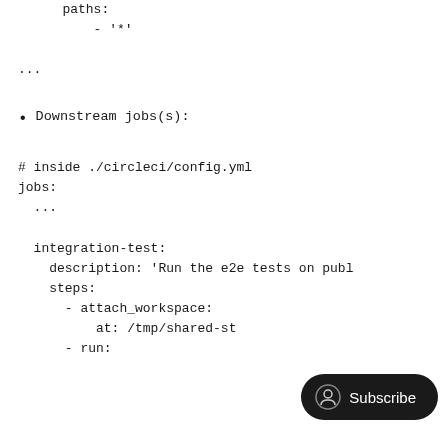paths:
    - '*'
...
Downstream jobs(s):
# inside ./circleci/config.yml
jobs:
  ...

  integration-test:
    description: 'Run the e2e tests on publ
    steps:
      - attach_workspace:
          at: /tmp/shared-st
      - run: